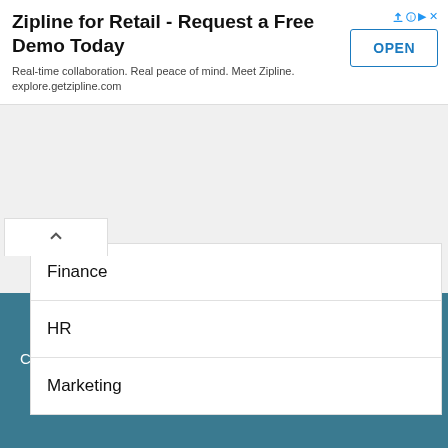[Figure (screenshot): Advertisement banner: 'Zipline for Retail - Request a Free Demo Today' with OPEN button and adChoices icon. Subtitle: 'Real-time collaboration. Real peace of mind. Meet Zipline. explore.getzipline.com']
Finance
HR
Marketing
Copyright © 2022 · Business Jargons · Contact Us · About Us · Privacy